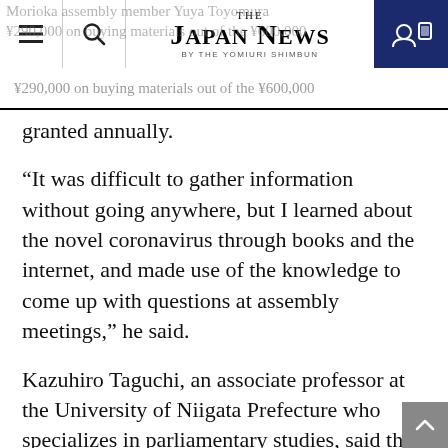THE JAPAN NEWS BY THE YOMIURI SHIMBUN
Morioka assembly member Yuya Toyomura ¥290,000 on buying materials out of the ¥600,000 granted annually.
“It was difficult to gather information without going anywhere, but I learned about the novel coronavirus through books and the internet, and made use of the knowledge to come up with questions at assembly meetings,” he said.
Kazuhiro Taguchi, an associate professor at the University of Niigata Prefecture who specializes in parliamentary studies, said the pandemic has changed the way local assembly members work.
“Tours of inspection for policy making and petitions